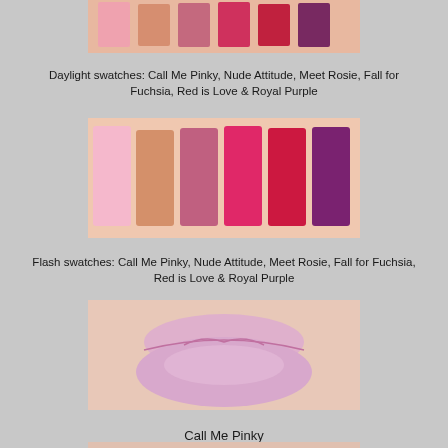[Figure (photo): Daylight swatches of lipstick shades on skin: Call Me Pinky, Nude Attitude, Meet Rosie, Fall for Fuchsia, Red is Love and Royal Purple - top portion cut off]
Daylight swatches: Call Me Pinky, Nude Attitude, Meet Rosie, Fall for Fuchsia, Red is Love & Royal Purple
[Figure (photo): Flash swatches of lipstick shades on skin: Call Me Pinky (light pink), Nude Attitude (peach/nude), Meet Rosie (mauve/pink), Fall for Fuchsia (hot pink), Red is Love (red), Royal Purple (dark purple)]
Flash swatches: Call Me Pinky, Nude Attitude, Meet Rosie, Fall for Fuchsia, Red is Love & Royal Purple
[Figure (photo): Close-up photo of lips wearing Call Me Pinky lipstick - a soft sheer pink shade]
Call Me Pinky
[Figure (photo): Bottom portion of another lip photo, partially visible]